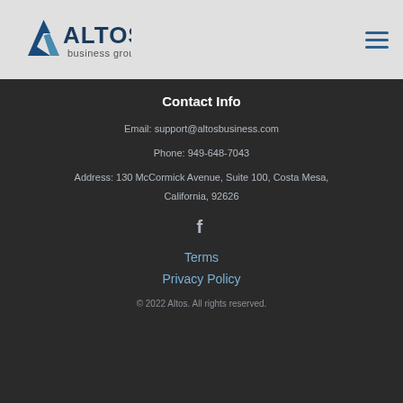[Figure (logo): Altos Business Group logo — stylized 'A' chevron in dark blue/teal with 'ALTOS' in large dark blue letters and 'business group' in smaller gray text below]
Contact Info
Email: support@altosbusiness.com
Phone: 949-648-7043
Address: 130 McCormick Avenue, Suite 100, Costa Mesa, California, 92626
[Figure (illustration): Facebook icon (f)]
Terms
Privacy Policy
© 2022 Altos. All rights reserved.